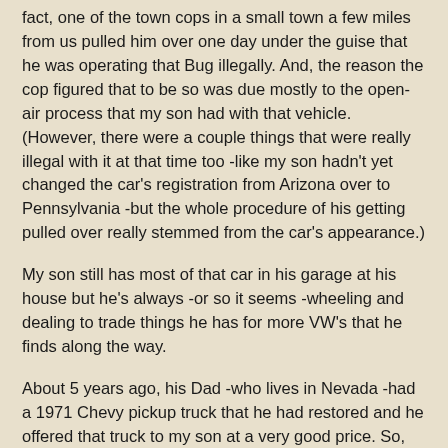fact, one of the town cops in a small town a few miles from us pulled him over one day under the guise that he was operating that Bug illegally. And, the reason the cop figured that to be so was due mostly to the open-air process that my son had with that vehicle. (However, there were a couple things that were really illegal with it at that time too -like my son hadn't yet changed the car's registration from Arizona over to Pennsylvania -but the whole procedure of his getting pulled over really stemmed from the car's appearance.)
My son still has most of that car in his garage at his house but he's always -or so it seems -wheeling and dealing to trade things he has for more VW's that he finds along the way.
About 5 years ago, his Dad -who lives in Nevada -had a 1971 Chevy pickup truck that he had restored and he offered that truck to my son at a very good price. So, the boy flew out to Nevada to make arrangements with his Dad to buy that truck and then, he drove it cross-country to bring it back to Pennsylvania.. And let me tell you, he babied that truck - and he loved it too, ya know.